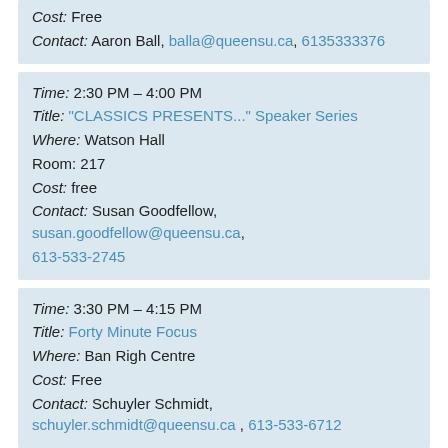Cost: Free
Contact: Aaron Ball, balla@queensu.ca, 6135333376
Time: 2:30 PM – 4:00 PM
Title: "CLASSICS PRESENTS..." Speaker Series
Where: Watson Hall
Room: 217
Cost: free
Contact: Susan Goodfellow, susan.goodfellow@queensu.ca, 613-533-2745
Time: 3:30 PM – 4:15 PM
Title: Forty Minute Focus
Where: Ban Righ Centre
Cost: Free
Contact: Schuyler Schmidt, schuyler.schmidt@queensu.ca, 613-533-6712
Time: 4:00 PM – 8:00 PM
Title: Great Canadian Shoreline Clean-up
Where: Breakwater Park, Waterfront Pathway, Kingston, ON
Cost: Free
Contact: Aaron Ball, balla@...